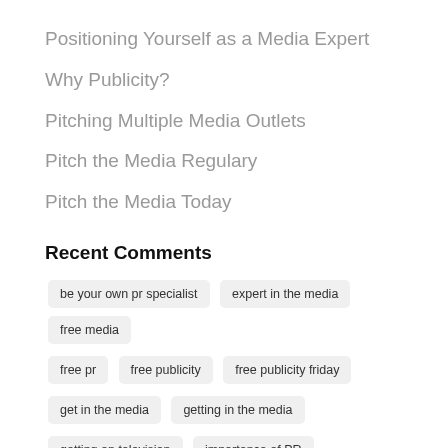Positioning Yourself as a Media Expert
Why Publicity?
Pitching Multiple Media Outlets
Pitch the Media Regulary
Pitch the Media Today
Recent Comments
be your own pr specialist
expert in the media
free media
free pr
free publicity
free publicity friday
get in the media
getting in the media
getting on television
importance of PR
landing publicity
marketing
media
media exposure
media for clients